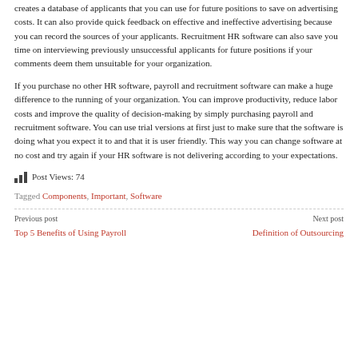creates a database of applicants that you can use for future positions to save on advertising costs. It can also provide quick feedback on effective and ineffective advertising because you can record the sources of your applicants. Recruitment HR software can also save you time on interviewing previously unsuccessful applicants for future positions if your comments deem them unsuitable for your organization.
If you purchase no other HR software, payroll and recruitment software can make a huge difference to the running of your organization. You can improve productivity, reduce labor costs and improve the quality of decision-making by simply purchasing payroll and recruitment software. You can use trial versions at first just to make sure that the software is doing what you expect it to and that it is user friendly. This way you can change software at no cost and try again if your HR software is not delivering according to your expectations.
Post Views: 74
Tagged Components, Important, Software
Previous post
Top 5 Benefits of Using Payroll
Next post
Definition of Outsourcing